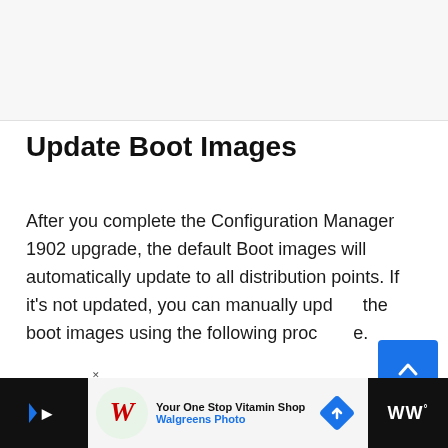[Figure (screenshot): Gray top navigation/header area of a webpage]
Update Boot Images
After you complete the Configuration Manager 1902 upgrade, the default Boot images will automatically update to all distribution points. If it's not updated, you can manually update the boot images using the following procedure.
Use the following steps to update the SCCM boot
[Figure (screenshot): Walgreens Photo advertisement banner at bottom: 'Your One Stop Vitamin Shop' with Walgreens Photo logo and navigation arrow icon]